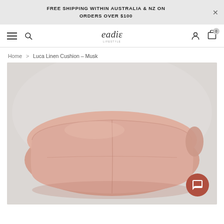FREE SHIPPING WITHIN AUSTRALIA & NZ ON ORDERS OVER $100
[Figure (screenshot): Website navigation bar with hamburger menu, search icon, eadie lifestyle logo, user account icon, and cart icon with 0 items]
Home > Luca Linen Cushion – Musk
[Figure (photo): Product photo of a dusty pink/musk linen cushion on a grey background, viewed from slightly above showing the top and front. A chat support button is visible in the bottom right corner.]